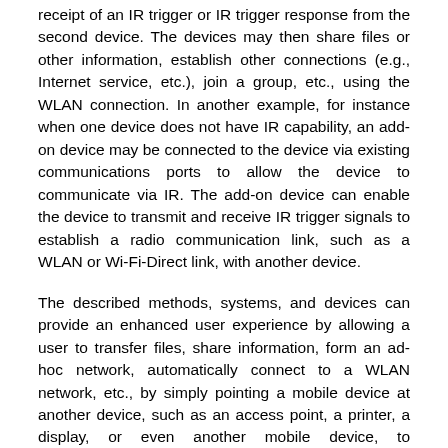receipt of an IR trigger or IR trigger response from the second device. The devices may then share files or other information, establish other connections (e.g., Internet service, etc.), join a group, etc., using the WLAN connection. In another example, for instance when one device does not have IR capability, an add-on device may be connected to the device via existing communications ports to allow the device to communicate via IR. The add-on device can enable the device to transmit and receive IR trigger signals to establish a radio communication link, such as a WLAN or Wi-Fi-Direct link, with another device.
The described methods, systems, and devices can provide an enhanced user experience by allowing a user to transfer files, share information, form an ad-hoc network, automatically connect to a WLAN network, etc., by simply pointing a mobile device at another device, such as an access point, a printer, a display, or even another mobile device, to automatically set up a WLAN connection. IR technology can provide communication over a distance of up to 10-15 meters, which can allow a user and another device, such as a peer device, at a far corner of a room to transfer files by pointing the devices at each other. This may provide a longer range and greater setup and sharing capabilities than current Near Field Communications (NFC). Through various applications or programs a user can transfer files between the devices in a simple, expedient manner. In some implementations, an application or program can allow a user to take an